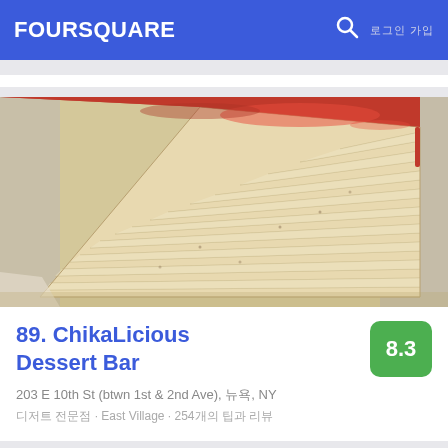FOURSQUARE
[Figure (photo): Close-up photo of a slice of mille crepe cake with red strawberry glaze on top and many thin crepe layers visible]
89. ChikaLicious Dessert Bar
203 E 10th St (btwn 1st & 2nd Ave), 뉴욕, NY
디저트 전문점 · East Village · 254개의 팁과 리뷰
[Figure (photo): Partial view of colorful dessert dishes on a dark background]